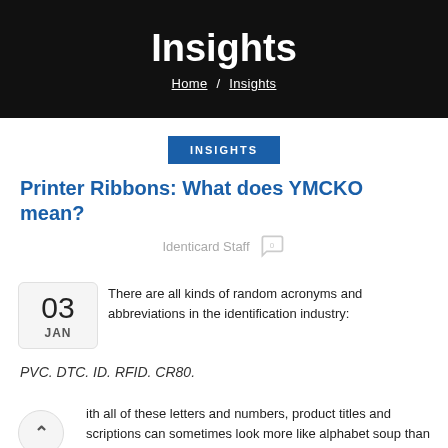Insights
Home / Insights
INSIGHTS
Printer Ribbons: What does YMCKO mean?
Identicard Staff
03 JAN
There are all kinds of random acronyms and abbreviations in the identification industry:
PVC. DTC. ID. RFID. CR80.
With all of these letters and numbers, product titles and descriptions can sometimes look more like alphabet soup than actual sentences.